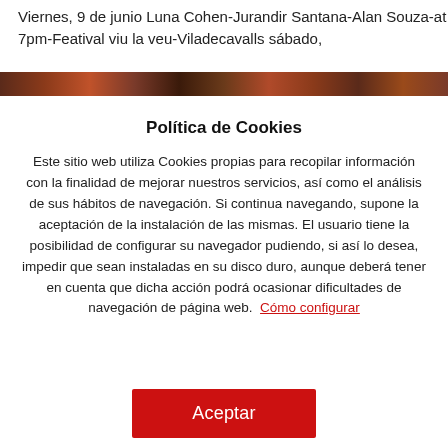Viernes, 9 de junio Luna Cohen-Jurandir Santana-Alan Souza-at 7pm-Featival viu la veu-Viladecavalls sábado,
[Figure (photo): Partial image strip visible behind cookie consent overlay]
Política de Cookies
Este sitio web utiliza Cookies propias para recopilar información con la finalidad de mejorar nuestros servicios, así como el análisis de sus hábitos de navegación. Si continua navegando, supone la aceptación de la instalación de las mismas. El usuario tiene la posibilidad de configurar su navegador pudiendo, si así lo desea, impedir que sean instaladas en su disco duro, aunque deberá tener en cuenta que dicha acción podrá ocasionar dificultades de navegación de página web.  Cómo configurar
Aceptar